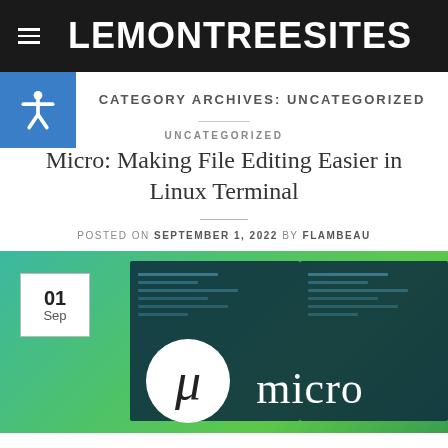LEMONTREESITES
CATEGORY ARCHIVES: UNCATEGORIZED
UNCATEGORIZED
Micro: Making File Editing Easier in Linux Terminal
POSTED ON SEPTEMBER 1, 2022 BY FLAMBEAU
[Figure (screenshot): Article featured image showing the Micro text editor logo (mu symbol in white circle) and the word 'micro' on a green gradient background, with a date badge showing 01 Sep in the top-left corner]